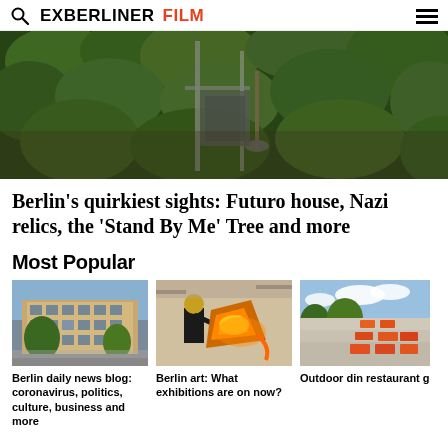EXBERLINER FILM
[Figure (photo): Aerial garden view with dense green ivy, metal structures and a shovel against a brick wall backdrop]
Berlin's quirkiest sights: Futuro house, Nazi relics, the 'Stand By Me' Tree and more
Most Popular
[Figure (photo): Berlin apartment building facade with trees and people in foreground]
Berlin daily news blog: coronavirus, politics, culture, business and more
[Figure (photo): Person pouring molten metal from a large crucible in an art foundry]
Berlin art: What exhibitions are on now?
[Figure (photo): Outdoor dining area with orange/red terrace furniture partially visible]
Outdoor din restaurant g